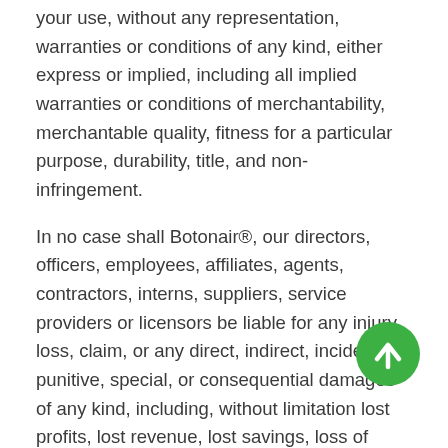your use, without any representation, warranties or conditions of any kind, either express or implied, including all implied warranties or conditions of merchantability, merchantable quality, fitness for a particular purpose, durability, title, and non-infringement.
In no case shall Botonair®, our directors, officers, employees, affiliates, agents, contractors, interns, suppliers, service providers or licensors be liable for any injury, loss, claim, or any direct, indirect, incidental, punitive, special, or consequential damages of any kind, including, without limitation lost profits, lost revenue, lost savings, loss of data, replacement costs, or any similar damages, whether based in contract, tort (including negligence), strict liability or otherwise, arising from your use of any of the service or any products procured using the service, or for any other claim related in any way to your use of the service or any products including, but not limited to, any errors or omissions in any content, or any loss or damage of any kind incurred as a